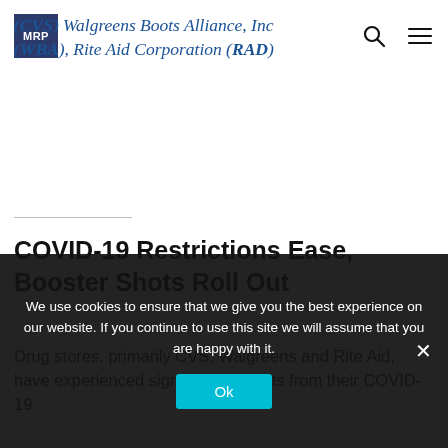MRP (logo) [search icon] [menu icon]
(CVS) Walgreens Boots Alliance, Inc (WBA), Rite Aid Corporation (RAD)
COVID-19 Restrictions Ease, Booster Shots Roll Out
Drug stores, primarily CVS, Walgreens and Rite Aid, have experienced significant benefits from their COVID-19
We use cookies to ensure that we give you the best experience on our website. If you continue to use this site we will assume that you are happy with it. Ok